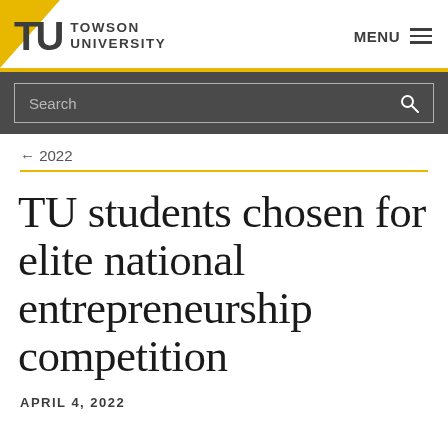Towson University — MENU
Search
← 2022
TU students chosen for elite national entrepreneurship competition
APRIL 4, 2022